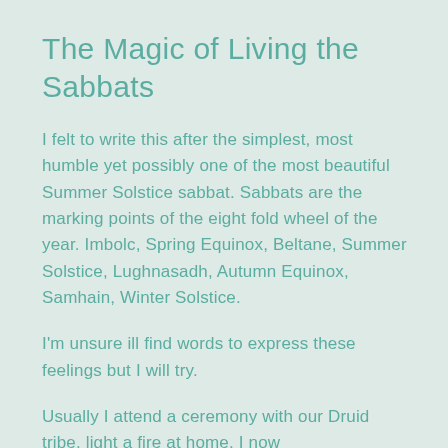The Magic of Living the Sabbats
I felt to write this after the simplest, most humble yet possibly one of the most beautiful Summer Solstice sabbat. Sabbats are the marking points of the eight fold wheel of the year. Imbolc, Spring Equinox, Beltane, Summer Solstice, Lughnasadh, Autumn Equinox, Samhain, Winter Solstice.
I'm unsure ill find words to express these feelings but I will try.
Usually I attend a ceremony with our Druid tribe, light a fire at home, I now